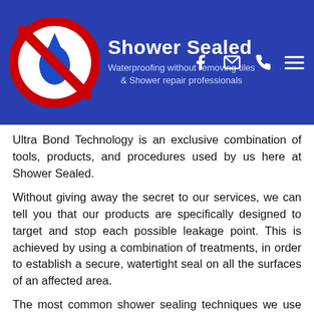[Figure (logo): Shower Sealed company logo with red circle, water drop icon, brand name and tagline, plus social media and navigation icons in blue header]
Ultra Bond Technology is an exclusive combination of tools, products, and procedures used by us here at Shower Sealed.
Without giving away the secret to our services, we can tell you that our products are specifically designed to target and stop each possible leakage point. This is achieved by using a combination of treatments, in order to establish a secure, watertight seal on all the surfaces of an affected area.
The most common shower sealing techniques we use are re-grouting, tile replacing, resealing, and shower rebuilding. The techniques we use will depend on the source of the leak and the condition of your shower. For this reason, the best way to determine the right treatment plan for you, is to book a free visit.
Of course, this information doesn't really tell you what Ultra Bond Technology does. It merely gives you a surface-level understanding of their use and benefits. To help you better